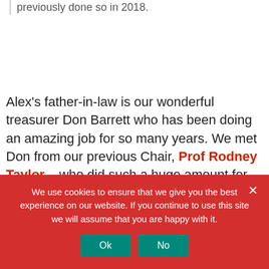previously done so in 2018.
Alex's father-in-law is our wonderful treasurer Don Barrett who has been doing an amazing job for so many years. We met Don from our previous Chair, Prof Rodney Taylor – who did such a huge amount for our charity - and passed away from MDS  - after serving as Chair for almost 7 years. Rodney's wife has also always been hugely supportive of MDS UK
We use cookies to ensure that we give you the best experience on our website. If you continue to use this site we will assume that you are happy with it.